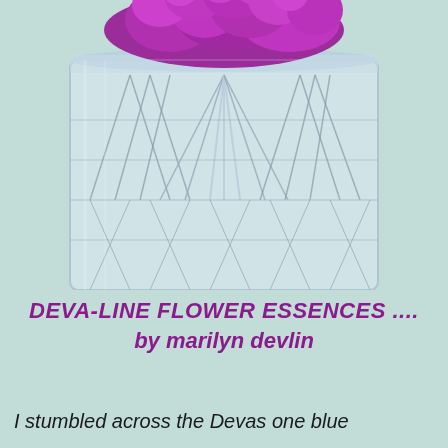[Figure (photo): Close-up photograph of a crystal cut glass vase containing purple flowers (appearing to be a hyacinth or similar clustered purple bloom) emerging from the top. The crystal vase shows intricate cut glass patterns with star and fan motifs. The background is a soft mint/sage green.]
DEVA-LINE FLOWER ESSENCES  ....
by marilyn devlin
I stumbled across the Devas one blue